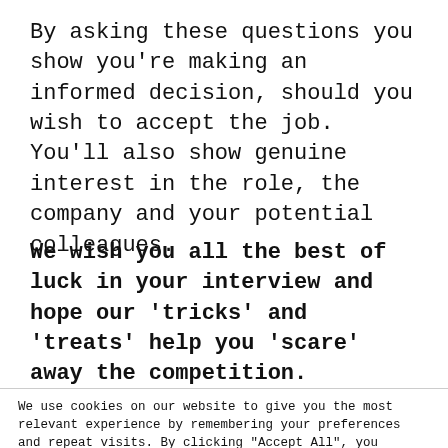By asking these questions you show you're making an informed decision, should you wish to accept the job. You'll also show genuine interest in the role, the company and your potential colleagues.
We wish you all the best of luck in your interview and hope our 'tricks' and 'treats' help you 'scare' away the competition.
We use cookies on our website to give you the most relevant experience by remembering your preferences and repeat visits. By clicking "Accept All", you consent to the use of ALL the cookies. However, you may visit "Cookie Settings" to provide a controlled consent.